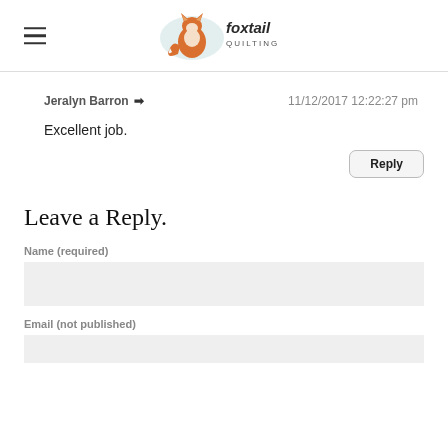Foxtail Quilting
Jeralyn Barron → 11/12/2017 12:22:27 pm
Excellent job.
Reply
Leave a Reply.
Name (required)
Email (not published)